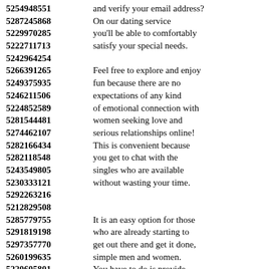5254948551 and verify your email address? 5287245868 On our dating service 5229970285 you'll be able to comfortably 5222711713 satisfy your special needs. 5242964254 5266391265 Feel free to explore and enjoy 5249375935 fun because there are no 5246211506 expectations of any kind 5224852589 of emotional connection with 5281544481 women seeking love and 5274462107 serious relationships online! 5282166434 This is convenient because 5282118548 you get to chat with the 5243549805 singles who are available 5230333121 without wasting your time. 5292263216 5212829508 5285779755 It is an easy option for those 5291819198 who are already starting to 5297357770 get out there and get it done, 5260199635 simple men and women. 5220605801 You have to do is provide 5259498989 detailed information and take 5298567442 a look at the profiles 5281476706 provided on the site for